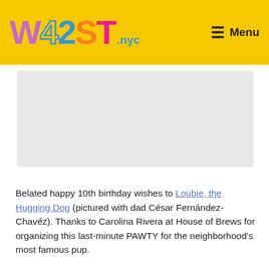W42ST.nyc — Menu
[Figure (other): Gray advertisement placeholder block]
Belated happy 10th birthday wishes to Loubie, the Hugging Dog (pictured with dad César Fernández-Chavéz). Thanks to Carolina Rivera at House of Brews for organizing this last-minute PAWTY for the neighborhood's most famous pup.
SUPPORT W42ST